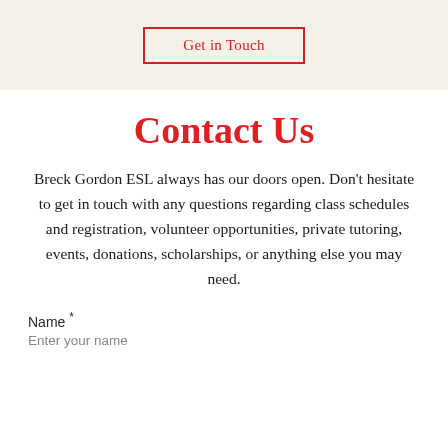Get in Touch
Contact Us
Breck Gordon ESL always has our doors open. Don't hesitate to get in touch with any questions regarding class schedules and registration, volunteer opportunities, private tutoring, events, donations, scholarships, or anything else you may need.
Name *
Enter your name